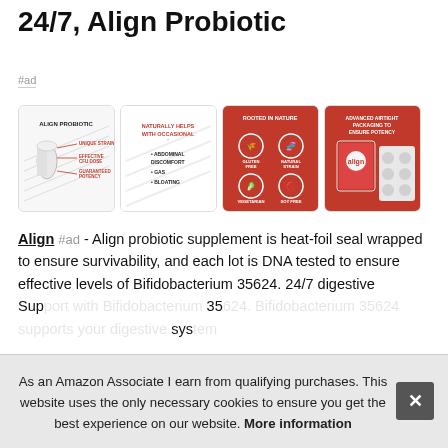24/7, Align Probiotic
#ad
[Figure (photo): Four product images for Align Probiotic: (1) capsule diagram showing unique strain, effective CFU dose, guaranteed potency; (2) text panel: NATURALLY HELPS WITH OCCASIONAL: ABDOMINAL DISCOMFORT, GAS, BLOATING; (3) orange panel: ROOTED IN NATURE - GLUTEN FREE, NATURAL STRAIN, VEGETARIAN, SOY FREE; (4) orange panel: ADVANCED AIRTIGHT PACKAGING TO ENSURE POTENCY with product packaging photo.]
Align #ad - Align probiotic supplement is heat-foil seal wrapped to ensure survivability, and each lot is DNA tested to ensure effective levels of Bifidobacterium 35624. 24/7 digestive Support with Bifidobacterium 35624. Bifidobacterium 35624 supports your digestive system...
As an Amazon Associate I earn from qualifying purchases. This website uses the only necessary cookies to ensure you get the best experience on our website. More information